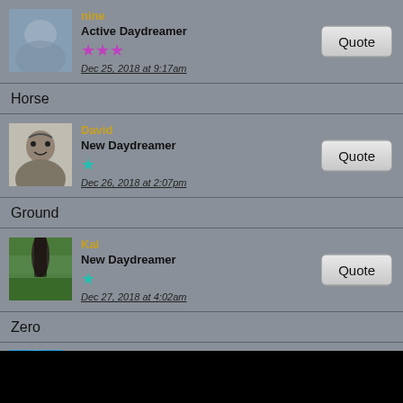[Figure (screenshot): Forum post by user 'nine', Avatar image (blurry blue/grey photo)]
nine
Active Daydreamer
★★★ (3 pink/magenta stars)
Dec 25, 2018 at 9:17am
Quote (button)
Horse
[Figure (screenshot): Forum post by user 'David', Avatar image (black and white illustration of a child)]
David
New Daydreamer
★ (1 cyan star)
Dec 26, 2018 at 2:07pm
Quote (button)
Ground
[Figure (screenshot): Forum post by user 'Kai', Avatar image (person in green field)]
Kai
New Daydreamer
★ (1 cyan star)
Dec 27, 2018 at 4:02am
Quote (button)
Zero
Deleted